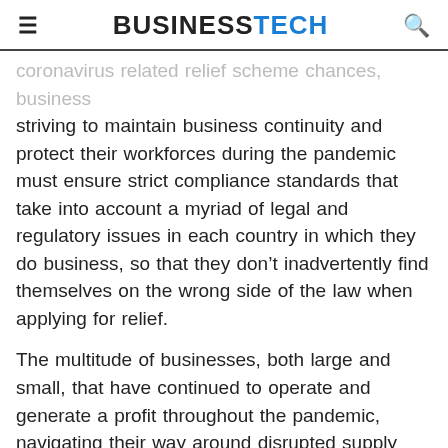BUSINESSTECH
coronavirus related relief scheme chances, businesses striving to maintain business continuity and protect their workforces during the pandemic must ensure strict compliance standards that take into account a myriad of legal and regulatory issues in each country in which they do business, so that they don't inadvertently find themselves on the wrong side of the law when applying for relief.
The multitude of businesses, both large and small, that have continued to operate and generate a profit throughout the pandemic, navigating their way around disrupted supply chains, decreasing demand, and a workforce in need of protection, should be recognised for their role in keeping the global